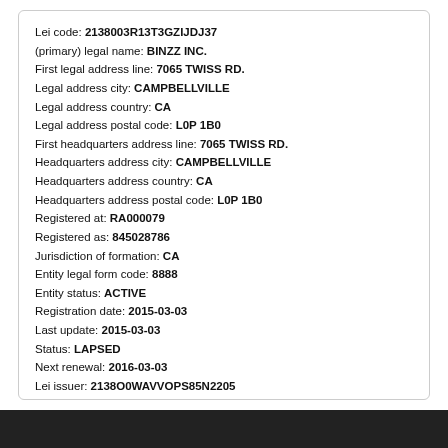Lei code: 2138003R13T3GZIJDJ37
(primary) legal name: BINZZ INC.
First legal address line: 7065 TWISS RD.
Legal address city: CAMPBELLVILLE
Legal address country: CA
Legal address postal code: L0P 1B0
First headquarters address line: 7065 TWISS RD.
Headquarters address city: CAMPBELLVILLE
Headquarters address country: CA
Headquarters address postal code: L0P 1B0
Registered at: RA000079
Registered as: 845028786
Jurisdiction of formation: CA
Entity legal form code: 8888
Entity status: ACTIVE
Registration date: 2015-03-03
Last update: 2015-03-03
Status: LAPSED
Next renewal: 2016-03-03
Lei issuer: 2138O0WAVVOPS85N2205
Corroboration level: FULLY_CORROBORATED
Data validated at (id): RA000079
Data validated as: 845028786